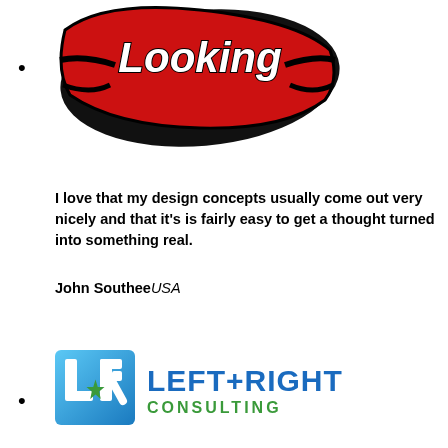[Figure (logo): Partially visible red and black stylized sports/graffiti logo with text 'Looking' visible]
I love that my design concepts usually come out very nicely and that it's is fairly easy to get a thought turned into something real.
John Southee USA
[Figure (logo): Left+Right Consulting logo with blue LR icon and green star accent, text LEFT+RIGHT CONSULTING in blue and green]